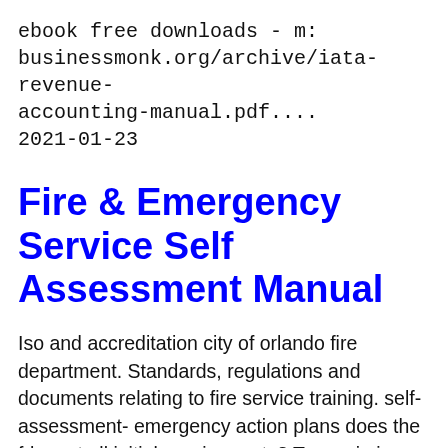ebook free downloads - m: businessmonk.org/archive/iata-revenue-accounting-manual.pdf.... 2021-01-23
Fire & Emergency Service Self Assessment Manual
Iso and accreditation city of orlando fire department. Standards, regulations and documents relating to fire service training. self-assessment- emergency action plans does the fd meet all initial requirements? To maximize the public